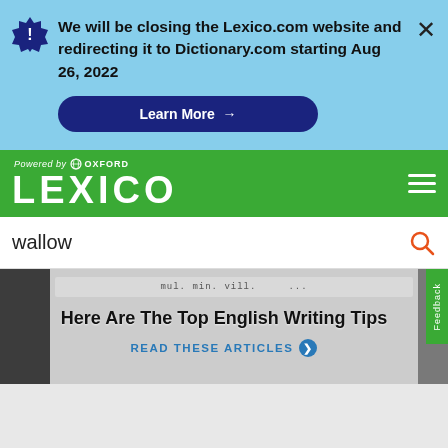We will be closing the Lexico.com website and redirecting it to Dictionary.com starting Aug 26, 2022
Learn More →
[Figure (logo): Lexico logo powered by Oxford on green background]
wallow
Here Are The Top English Writing Tips
READ THESE ARTICLES ❯